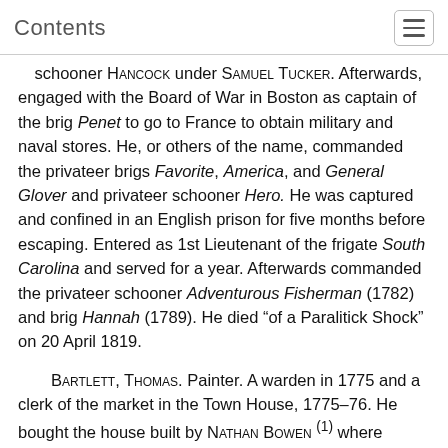Contents
schooner Hancock under Samuel Tucker. Afterwards, engaged with the Board of War in Boston as captain of the brig Penet to go to France to obtain military and naval stores. He, or others of the name, commanded the privateer brigs Favorite, America, and General Glover and privateer schooner Hero. He was captured and confined in an English prison for five months before escaping. Entered as 1st Lieutenant of the frigate South Carolina and served for a year. Afterwards commanded the privateer schooner Adventurous Fisherman (1782) and brig Hannah (1789). He died “of a Paralitick Shock” on 20 April 1819.
Bartlett, Thomas. Painter. A warden in 1775 and a clerk of the market in the Town House, 1775–76. He bought the house built by Nathan Bowen (1) where Ashley Bowen was born. A bill of 1773–74 from him exists for “Setting 2 Binical Glasses” and